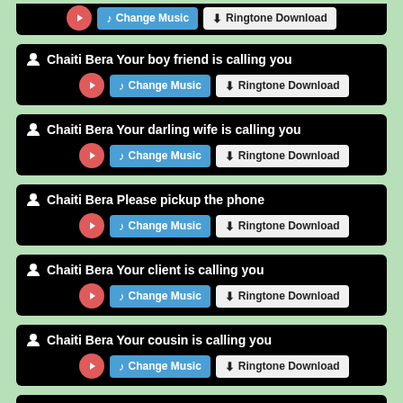[Figure (screenshot): App listing card: Chaiti Bera Your boy friend is calling you, with play, Change Music, and Ringtone Download buttons]
[Figure (screenshot): App listing card: Chaiti Bera Your darling wife is calling you, with play, Change Music, and Ringtone Download buttons]
[Figure (screenshot): App listing card: Chaiti Bera Please pickup the phone, with play, Change Music, and Ringtone Download buttons]
[Figure (screenshot): App listing card: Chaiti Bera Your client is calling you, with play, Change Music, and Ringtone Download buttons]
[Figure (screenshot): App listing card: Chaiti Bera Your cousin is calling you, with play, Change Music, and Ringtone Download buttons]